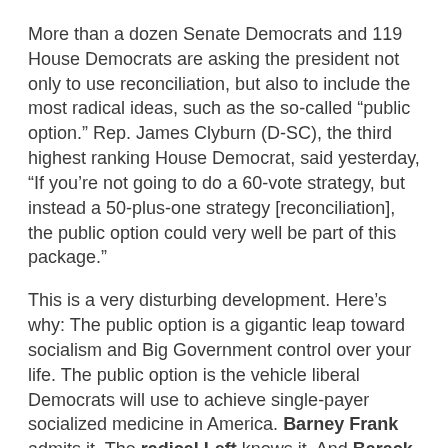More than a dozen Senate Democrats and 119 House Democrats are asking the president not only to use reconciliation, but also to include the most radical ideas, such as the so-called “public option.” Rep. James Clyburn (D-SC), the third highest ranking House Democrat, said yesterday, “If you’re not going to do a 60-vote strategy, but instead a 50-plus-one strategy [reconciliation], the public option could very well be part of this package.”
This is a very disturbing development. Here’s why: The public option is a gigantic leap toward socialism and Big Government control over your life. The public option is the vehicle liberal Democrats will use to achieve single-payer socialized medicine in America. Barney Frank admits it. The radical Left knows it. And Barack Obama wants it.
The Democrats just don’t get it. Their liberal leadership is “stuck on stupid.” They have deluded themselves into believing that electoral success this November means appeasing their militant leftwing fringe by aggressively acting on the radical agenda that cost them the governorships of